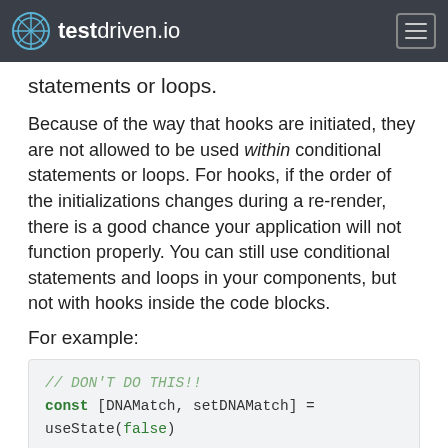testdriven.io
statements or loops.
Because of the way that hooks are initiated, they are not allowed to be used within conditional statements or loops. For hooks, if the order of the initializations changes during a re-render, there is a good chance your application will not function properly. You can still use conditional statements and loops in your components, but not with hooks inside the code blocks.
For example:
[Figure (screenshot): Code block showing // DON'T DO THIS!! comment in green italic, const [DNAMatch, setDNAMatch] = useState(false) with keywords bold green, if (name) { and setDNAMatch(true) with keywords bold green]